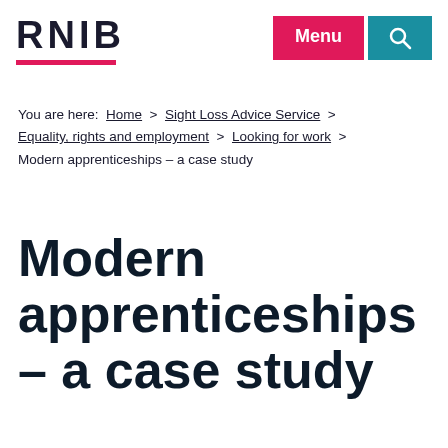RNIB | Menu | Search
You are here: Home > Sight Loss Advice Service > Equality, rights and employment > Looking for work > Modern apprenticeships – a case study
Modern apprenticeships – a case study